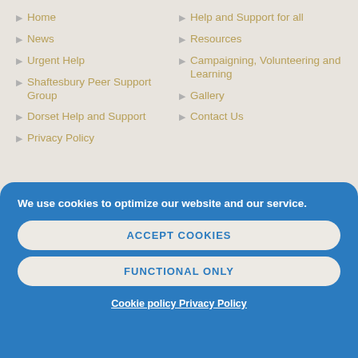Home
News
Urgent Help
Shaftesbury Peer Support Group
Dorset Help and Support
Privacy Policy
Help and Support for all
Resources
Campaigning, Volunteering and Learning
Gallery
Contact Us
We use cookies to optimize our website and our service.
ACCEPT COOKIES
FUNCTIONAL ONLY
Cookie policy Privacy Policy